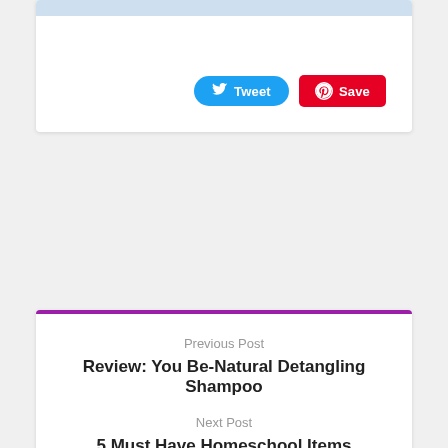[Figure (screenshot): Top card with light blue header bar and Tweet and Save social sharing buttons]
[Figure (screenshot): Navigation card with purple top border showing Previous Post and Next Post links]
Previous Post
Review: You Be-Natural Detangling Shampoo
Next Post
5 Must Have Homeschool Items #Groupon #ad
[Figure (screenshot): About Elle Cole card with purple top border, author avatar in teal circle, and purple scroll-to-top button]